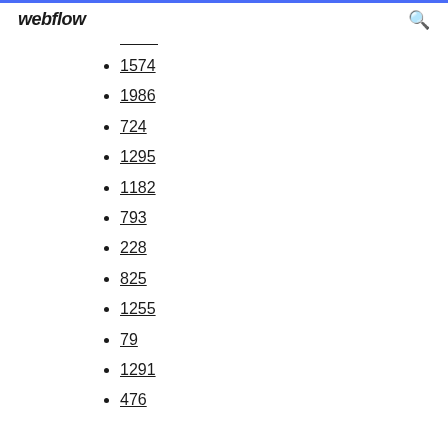webflow
1574
1986
724
1295
1182
793
228
825
1255
79
1291
476